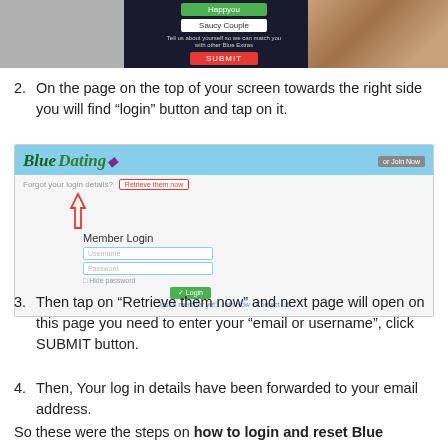[Figure (screenshot): Screenshot showing a dating website sign-up form with green and white buttons and a red SUBMIT button, with a photo of a person on the right side]
2. On the page on the top of your screen towards the right side you will find “login” button and tap on it.
[Figure (screenshot): Screenshot of Blue Dating website showing login page with Member Login form (Username, Password fields, Hide password checkbox, Login button) and a red-outlined 'Retrieve them now' button highlighted, with a red arrow pointing up to it]
3. Then tap on “Retrieve them now” and next page will open on this page you need to enter your “email or username”, click SUBMIT button.
4. Then, Your log in details have been forwarded to your email address.
So these were the steps on how to login and reset Blue